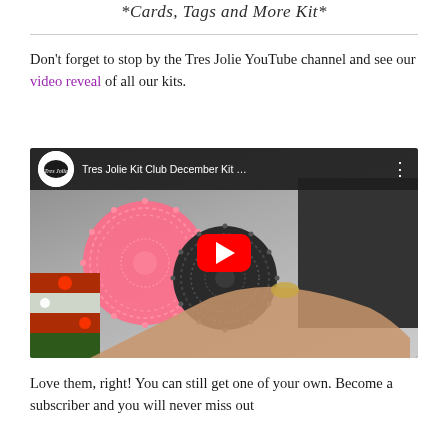*Cards, Tags and More Kit*
Don’t forget to stop by the Tres Jolie YouTube channel and see our video reveal of all our kits.
[Figure (screenshot): YouTube video thumbnail showing Tres Jolie Kit Club December Kit video with pink and black doilies and a YouTube play button overlay]
Love them, right! You can still get one of your own. Become a subscriber and you will never miss out